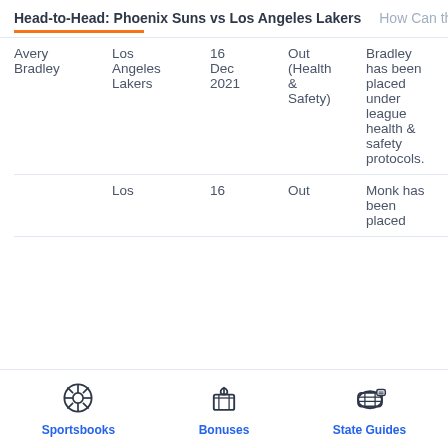Head-to-Head: Phoenix Suns vs Los Angeles Lakers   How Can th
| Player | Team | Date | Status | Notes |
| --- | --- | --- | --- | --- |
| Avery Bradley | Los Angeles Lakers | 16 Dec 2021 | Out (Health & Safety) | Bradley has been placed under league health & safety protocols. |
|  | Los | 16 | Out | Monk has been placed |
Sportsbooks   Bonuses   State Guides